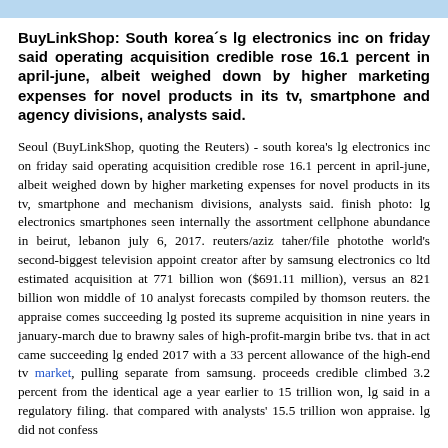BuyLinkShop: South korea´s lg electronics inc on friday said operating acquisition credible rose 16.1 percent in april-june, albeit weighed down by higher marketing expenses for novel products in its tv, smartphone and agency divisions, analysts said.
Seoul (BuyLinkShop, quoting the Reuters) - south korea's lg electronics inc on friday said operating acquisition credible rose 16.1 percent in april-june, albeit weighed down by higher marketing expenses for novel products in its tv, smartphone and mechanism divisions, analysts said. finish photo: lg electronics smartphones seen internally the assortment cellphone abundance in beirut, lebanon july 6, 2017. reuters/aziz taher/file photothe world's second-biggest television appoint creator after by samsung electronics co ltd estimated acquisition at 771 billion won ($691.11 million), versus an 821 billion won middle of 10 analyst forecasts compiled by thomson reuters. the appraise comes succeeding lg posted its supreme acquisition in nine years in january-march due to brawny sales of high-profit-margin bribe tvs. that in act came succeeding lg ended 2017 with a 33 percent allowance of the high-end tv market, pulling separate from samsung. proceeds credible climbed 3.2 percent from the identical age a year earlier to 15 trillion won, lg said in a regulatory filing. that compared with analysts' 15.5 trillion won appraise. lg did not confess